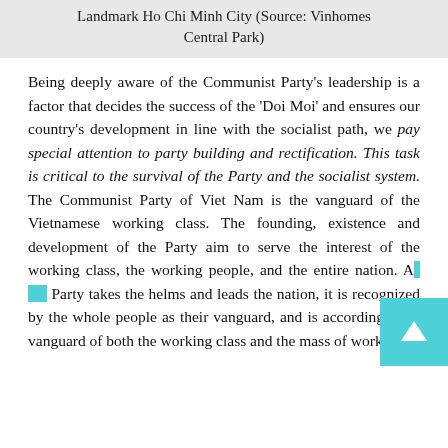Landmark Ho Chi Minh City (Source: Vinhomes Central Park)
Being deeply aware of the Communist Party's leadership is a factor that decides the success of the 'Doi Moi' and ensures our country's development in line with the socialist path, we pay special attention to party building and rectification. This task is critical to the survival of the Party and the socialist system. The Communist Party of Viet Nam is the vanguard of the Vietnamese working class. The founding, existence and development of the Party aim to serve the interest of the working class, the working people, and the entire nation. As the Party takes the helms and leads the nation, it is recognized by the whole people as their vanguard, and is accordingly the vanguard of both the working class and the mass of working